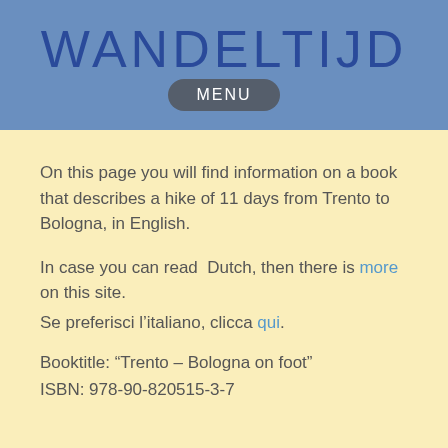WANDELTIJD
MENU
On this page you will find information on a book that describes a hike of 11 days from Trento to Bologna, in English.
In case you can read  Dutch, then there is more on this site.
Se preferisci l'italiano, clicca qui.
Booktitle: “Trento – Bologna on foot”
ISBN: 978-90-820515-3-7